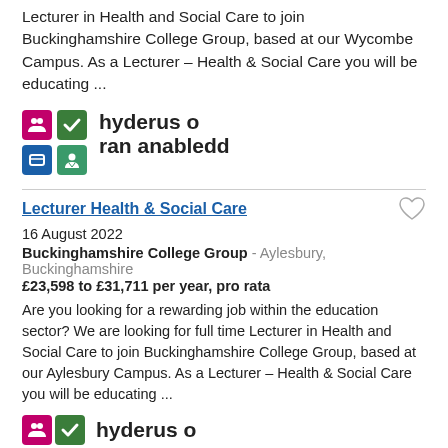Lecturer in Health and Social Care to join Buckinghamshire College Group, based at our Wycombe Campus. As a Lecturer – Health & Social Care you will be educating ...
[Figure (logo): Hyderus o ran anabledd disability confident logo with 4 coloured badge icons arranged in a 2x2 grid (pink, green, blue, teal) followed by Welsh text 'hyderus o ran anabledd']
Lecturer Health & Social Care
16 August 2022
Buckinghamshire College Group - Aylesbury, Buckinghamshire
£23,598 to £31,711 per year, pro rata
Are you looking for a rewarding job within the education sector? We are looking for full time Lecturer in Health and Social Care to join Buckinghamshire College Group, based at our Aylesbury Campus. As a Lecturer – Health & Social Care you will be educating ...
[Figure (logo): Hyderus o partial logo showing two coloured badge icons (pink, green) and start of Welsh text 'hyderus o']